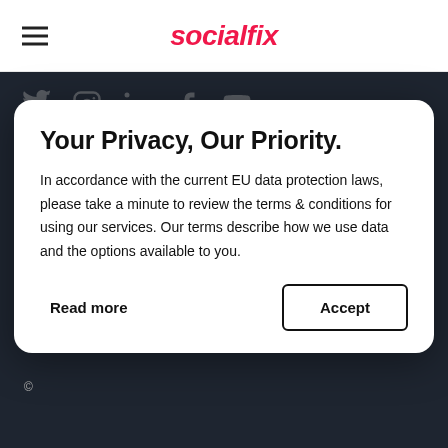socialfix
[Figure (screenshot): Dark website background with social media icons (Twitter, Instagram, LinkedIn, Facebook, YouTube) and partial website content visible behind a privacy consent modal]
Your Privacy, Our Priority.
In accordance with the current EU data protection laws, please take a minute to review the terms & conditions for using our services. Our terms describe how we use data and the options available to you.
Read more
Accept